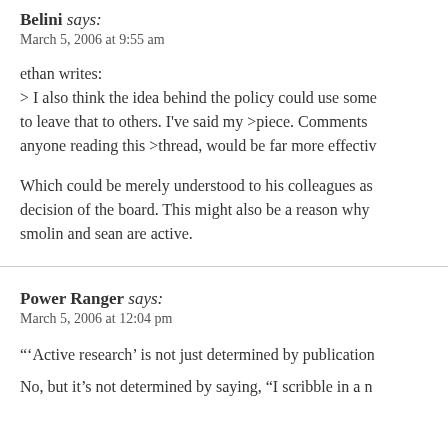Belini says:
March 5, 2006 at 9:55 am
ethan writes:
> I also think the idea behind the policy could use some to leave that to others. I've said my >piece. Comments anyone reading this >thread, would be far more effectiv
Which could be merely understood to his colleagues as decision of the board. This might also be a reason why smolin and sean are active.
Power Ranger says:
March 5, 2006 at 12:04 pm
"'Active research' is not just determined by publication
No, but it's not determined by saying, "I scribble in a n